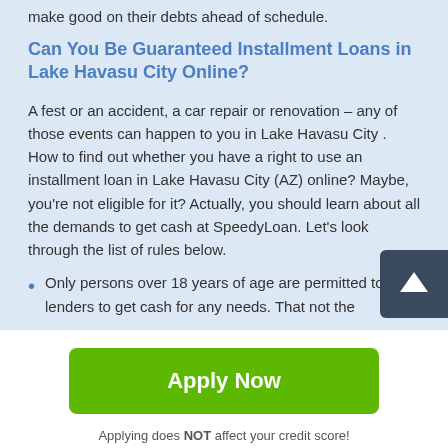make good on their debts ahead of schedule.
Can You Be Guaranteed Installment Loans in Lake Havasu City Online?
A fest or an accident, a car repair or renovation – any of those events can happen to you in Lake Havasu City . How to find out whether you have a right to use an installment loan in Lake Havasu City (AZ) online? Maybe, you're not eligible for it? Actually, you should learn about all the demands to get cash at SpeedyLoan. Let's look through the list of rules below.
Only persons over 18 years of age are permitted to for lenders to get cash for any needs. That not the
[Figure (other): Dark blue square scroll-up arrow button]
Apply Now
Applying does NOT affect your credit score!
No credit check to apply.